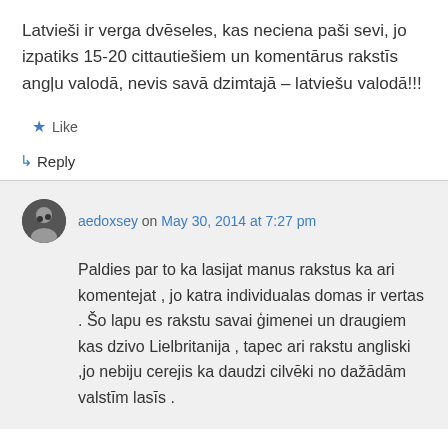Latvieši ir verga dvēseles, kas neciena paši sevi, jo izpatiks 15-20 cittautiešiem un komentārus rakstīs angļu valodā, nevis savā dzimtajā – latviešu valodā!!!
★ Like
↳ Reply
aedoxsey on May 30, 2014 at 7:27 pm
Paldies par to ka lasijat manus rakstus ka ari komentejat , jo katra individualas domas ir vertas . Šo lapu es rakstu savai ģimenei un draugiem kas dzivo Lielbritanija , tapec ari rakstu angliski ,jo nebiju cerejis ka daudzi cilvēki no dažādām valstīm lasīs .